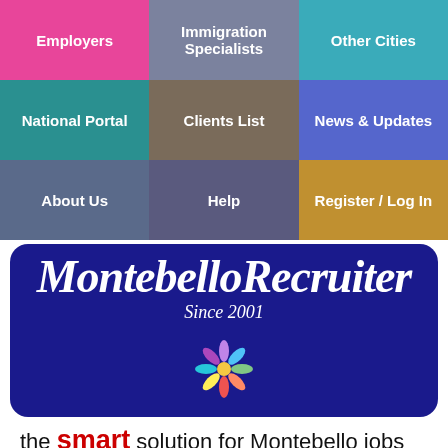[Figure (screenshot): Navigation grid with 9 colored cells: Employers (pink), Immigration Specialists (slate/purple), Other Cities (teal), National Portal (teal/dark), Clients List (brown/taupe), News & Updates (blue/indigo), About Us (dark slate), Help (dark purple), Register / Log In (gold)]
[Figure (logo): MontebelloRecruiter logo on dark blue rounded banner background with 'Since 2001' subtitle and colorful flower/people icon]
the smart solution for Montebello jobs
[Figure (other): Google Translate widget: G logo, 'Select Language', dropdown arrow]